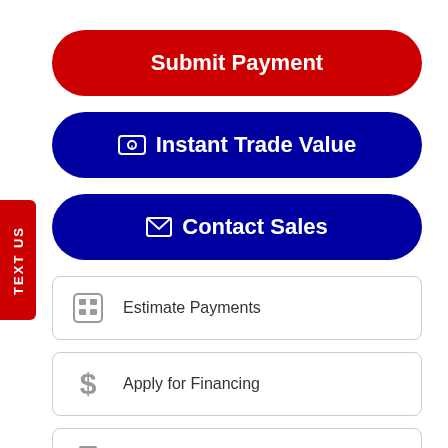Submit Payment
Instant Trade Value
Contact Sales
Estimate Payments
Apply for Financing
Price Sheet
TEXT US